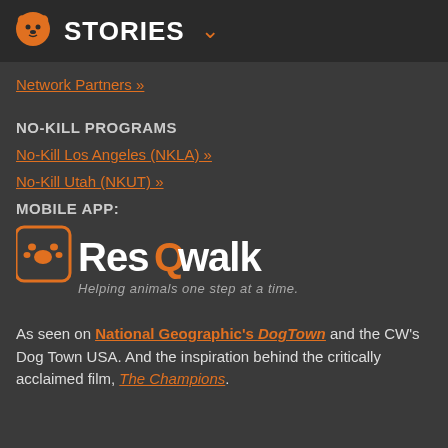STORIES
Network Partners »
NO-KILL PROGRAMS
No-Kill Los Angeles (NKLA) »
No-Kill Utah (NKUT) »
MOBILE APP:
[Figure (logo): ResQwalk logo with paw print icon and tagline: Helping animals one step at a time.]
As seen on National Geographic's DogTown and the CW's Dog Town USA. And the inspiration behind the critically acclaimed film, The Champions.